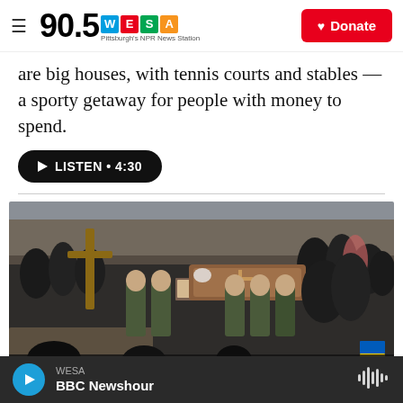90.5 WESA — Pittsburgh's NPR News Station | Donate
are big houses, with tennis courts and stables — a sporty getaway for people with money to spend.
LISTEN • 4:30
[Figure (photo): Military funeral procession: soldiers in camouflage uniforms carry a wooden coffin, a cross, and a portrait photo while surrounded by a large crowd of mourners dressed in dark clothing.]
WESA — BBC Newshour